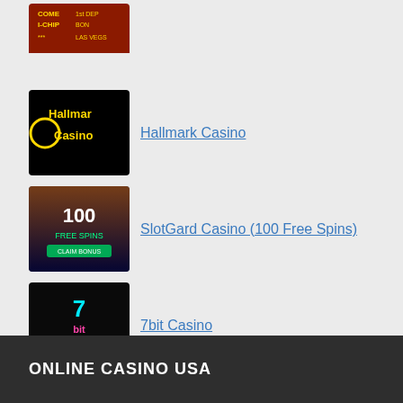Hallmark Casino
SlotGard Casino (100 Free Spins)
7bit Casino
Extreme Casino
ONLINE CASINO USA